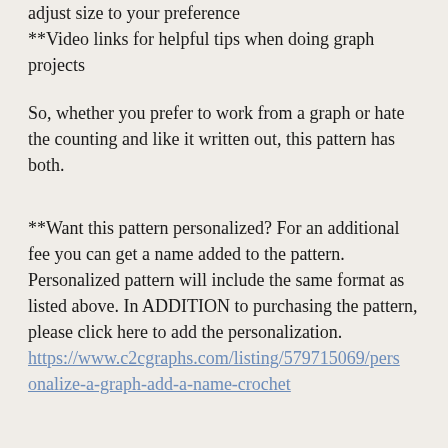adjust size to your preference
**Video links for helpful tips when doing graph projects
So, whether you prefer to work from a graph or hate the counting and like it written out, this pattern has both.
**Want this pattern personalized? For an additional fee you can get a name added to the pattern. Personalized pattern will include the same format as listed above. In ADDITION to purchasing the pattern, please click here to add the personalization.
https://www.c2cgraphs.com/listing/579715069/personalize-a-graph-add-a-name-crochet